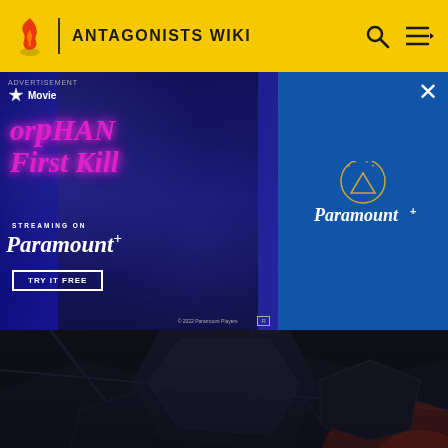ANTAGONISTS WIKI
[Figure (screenshot): Paramount+ advertisement banner for Orphan: First Kill. Dark blue background with pink/magenta stylized text 'Orphan First Kill', 'STREAMING ON Paramount+', 'TRY IT FREE' button, and a person's image on the left side. Paramount+ logo on the right blue panel.]
[Figure (screenshot): Card image for Yon-Rogg showing dark comic book style armor artwork with mechanical/robotic elements in dark tones]
Yon-Rogg
Marvel Cinematic Universe Wiki
[Figure (screenshot): Partial card image at bottom showing mechanical/robotic artwork with silver and black diagonal elements, partially visible with pink accents]